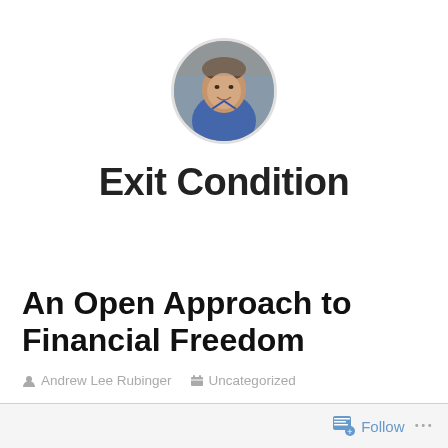[Figure (photo): Circular profile photo of a man in a blue shirt, smiling, with a blurred background]
Exit Condition
An Open Approach to Financial Freedom
Andrew Lee Rubinger   Uncategorized
Follow ...